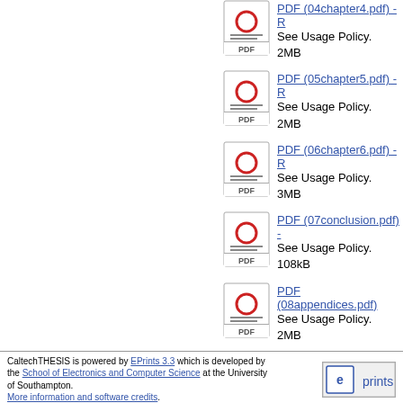PDF (04chapter4.pdf) - Restricted to Repository staff only
See Usage Policy.
2MB
PDF (05chapter5.pdf) - Restricted to Repository staff only
See Usage Policy.
2MB
PDF (06chapter6.pdf) - Restricted to Repository staff only
See Usage Policy.
3MB
PDF (07conclusion.pdf) - Restricted to Repository staff only
See Usage Policy.
108kB
PDF (08appendices.pdf)
See Usage Policy.
2MB
PDF (09bibliography.pdf)
See Usage Policy.
116kB
CaltechTHESIS is powered by EPrints 3.3 which is developed by the School of Electronics and Computer Science at the University of Southampton. More information and software credits.